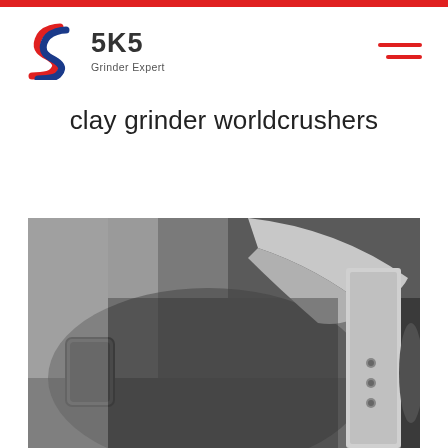[Figure (logo): SKS Grinder Expert logo with stylized S icon in red and blue, bold SKS text, and 'Grinder Expert' subtitle]
[Figure (illustration): Hamburger menu icon with two red horizontal lines]
clay grinder worldcrushers
[Figure (photo): Interior view of a clay grinder/crusher machine showing the inner chamber walls in grey, a curved rotor or cone element at the top right, and a vertical blade/liner component at the right side with bolts visible]